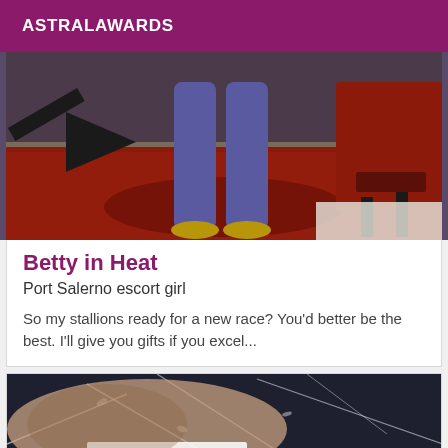ASTRALAWARDS
[Figure (photo): Photo of person's legs in purple/blue leggings and gold shoes standing on a red carpet, with a red chair visible in the background]
Betty in Heat
Port Salerno escort girl
So my stallions ready for a new race? You'd better be the best. I'll give you gifts if you excel...
[Figure (photo): Close-up photo of a person's shoulder/upper body area against a dark fabric with white floral pattern]